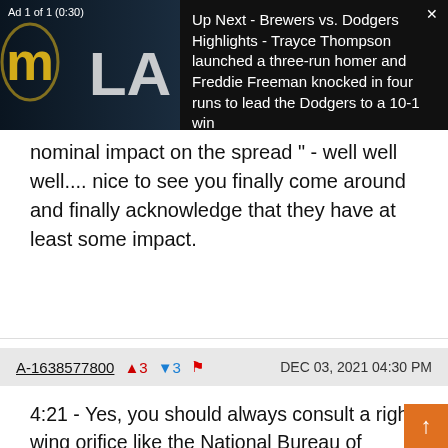[Figure (screenshot): Video ad banner showing Brewers vs Dodgers logos on dark background with text: Up Next - Brewers vs. Dodgers Highlights - Trayce Thompson launched a three-run homer and Freddie Freeman knocked in four runs to lead the Dodgers to a 10-1 win. Ad 1 of 1 (0:30) with close button X.]
nominal impact on the spread " - well well well.... nice to see you finally come around and finally acknowledge that they have at least some impact.
A-1638577800  ▲3  ▼3  🚩  DEC 03, 2021 04:30 PM
4:21 - Yes, you should always consult a right-wing orifice like the National Bureau of Economic Research for your medical advice. Amazing that anyone would think otherwise for epidemiological questions.